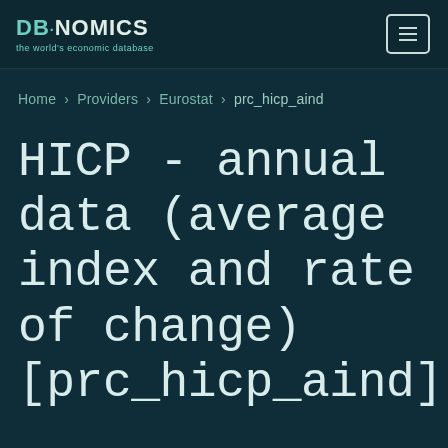DB·NOMICS the world's economic database
Home › Providers › Eurostat › prc_hicp_aind
HICP - annual data (average index and rate of change) [prc_hicp_aind]